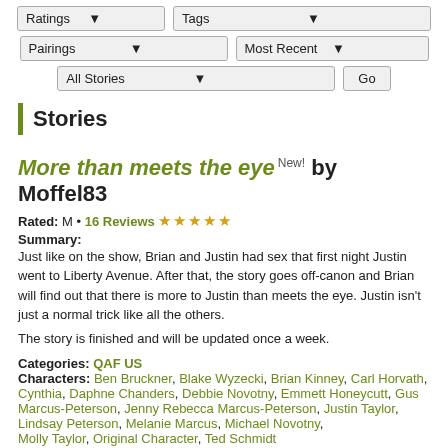[Figure (screenshot): Filter controls: Ratings dropdown, Tags dropdown, Pairings dropdown, Most Recent dropdown, All Stories dropdown, Go button]
Stories
More than meets the eye New! by Moffel83
Rated: M • 16 Reviews ★★★★★
Summary:
Just like on the show, Brian and Justin had sex that first night Justin went to Liberty Avenue. After that, the story goes off-canon and Brian will find out that there is more to Justin than meets the eye. Justin isn't just a normal trick like all the others.

The story is finished and will be updated once a week.
Categories: QAF US
Characters: Ben Bruckner, Blake Wyzecki, Brian Kinney, Carl Horvath, Cynthia, Daphne Chanders, Debbie Novotny, Emmett Honeycutt, Gus Marcus-Peterson, Jenny Rebecca Marcus-Peterson, Justin Taylor, Lindsay Peterson, Melanie Marcus, Michael Novotny, Molly Taylor, Original Character, Ted Schmidt